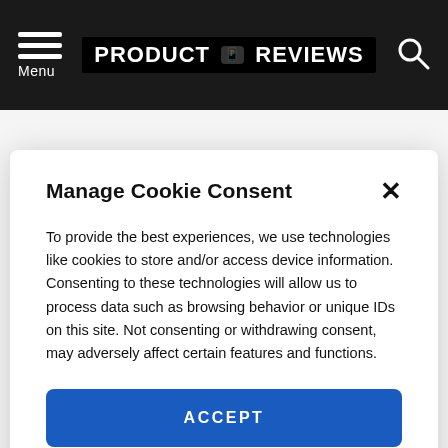Menu | PRODUCT REVIEWS
Manage Cookie Consent
To provide the best experiences, we use technologies like cookies to store and/or access device information. Consenting to these technologies will allow us to process data such as browsing behavior or unique IDs on this site. Not consenting or withdrawing consent, may adversely affect certain features and functions.
ACCEPT
VIEW PREFERENCES
Cookie Policy  Privacy Policy
cars, and gets excited when big events come up, such as CES and the big auto shows.
Contact Peter Cludduno: Google+, twitter and